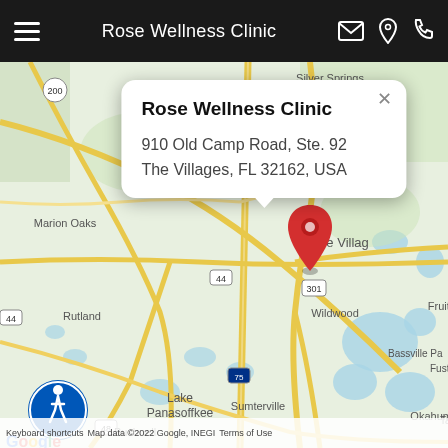Rose Wellness Clinic
[Figure (map): Google Maps screenshot showing The Villages area in Florida with a red location pin marking Rose Wellness Clinic. Surrounding areas include Marion Oaks, Wildwood, Fruitland Park, Leesburg, Lake Panasoffkee, Sumterville, Okahumpka, Bushnell, Rutland, Eustis, Bassville Park.]
Rose Wellness Clinic
910 Old Camp Road, Ste. 92
The Villages, FL 32162, USA
Keyboard shortcuts  Map data ©2022 Google, INEGI  Terms of Use